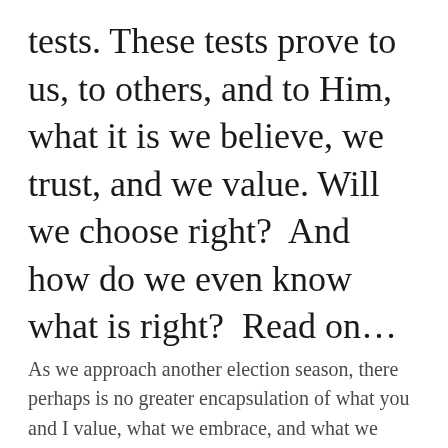tests. These tests prove to us, to others, and to Him, what it is we believe, we trust, and we value. Will we choose right?  And how do we even know what is right?  Read on…
As we approach another election season, there perhaps is no greater encapsulation of what you and I value, what we embrace, and what we trust, than how we will vote, or whether we will even vote at all. This is the subject